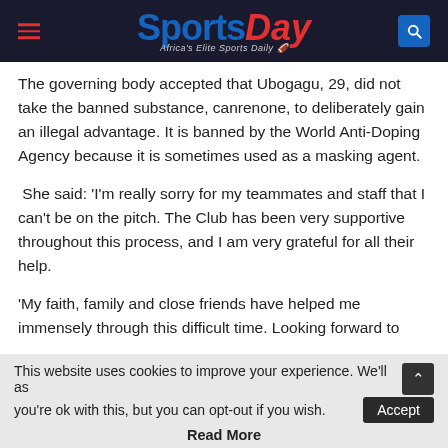SportsDay — Africa's Elite Sports Daily
The governing body accepted that Ubogagu, 29, did not take the banned substance, canrenone, to deliberately gain an illegal advantage. It is banned by the World Anti-Doping Agency because it is sometimes used as a masking agent.
She said: 'I'm really sorry for my teammates and staff that I can't be on the pitch. The Club has been very supportive throughout this process, and I am very grateful for all their help.
'My faith, family and close friends have helped me immensely through this difficult time. Looking forward to
This website uses cookies to improve your experience. We'll as you're ok with this, but you can opt-out if you wish. Accept
Read More